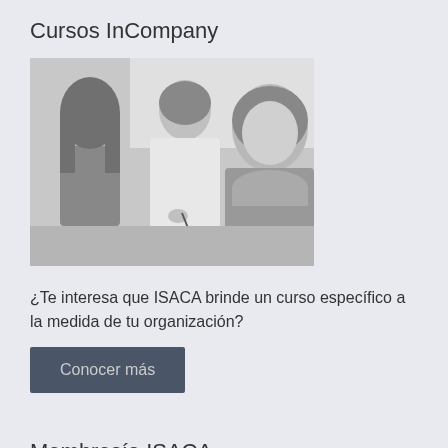Cursos InCompany
[Figure (photo): Black and white photo of three students at a desk; a young woman on the left writing, a young man in the center writing, and a young woman on the right smiling at the camera.]
¿Te interesa que ISACA brinde un curso específico a la medida de tu organización?
Conocer más
Membresía ISACA